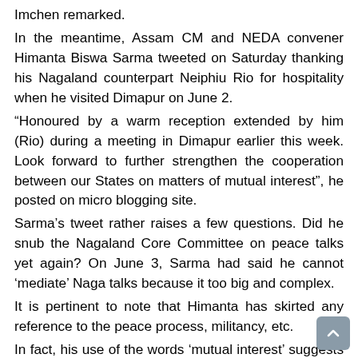Imchen remarked. In the meantime, Assam CM and NEDA convener Himanta Biswa Sarma tweeted on Saturday thanking his Nagaland counterpart Neiphiu Rio for hospitality when he visited Dimapur on June 2. “Honoured by a warm reception extended by him (Rio) during a meeting in Dimapur earlier this week. Look forward to further strengthen the cooperation between our States on matters of mutual interest”, he posted on micro blogging site. Sarma’s tweet rather raises a few questions. Did he snub the Nagaland Core Committee on peace talks yet again? On June 3, Sarma had said he cannot ‘mediate’ Naga talks because it too big and complex. It is pertinent to note that Himanta has skirted any reference to the peace process, militancy, etc. In fact, his use of the words ‘mutual interest’ suggests he is for greater bond between two neighboring States. This is something usual for any two States and would